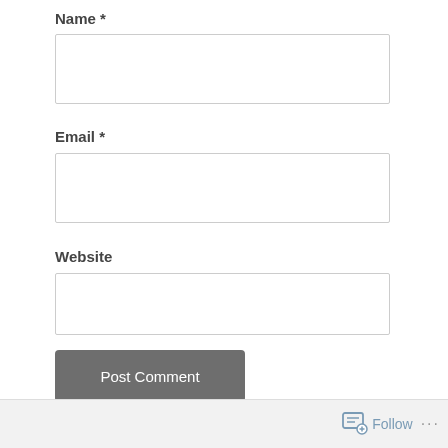Name *
Email *
Website
Post Comment
Notify me of new comments via email.
Follow ...